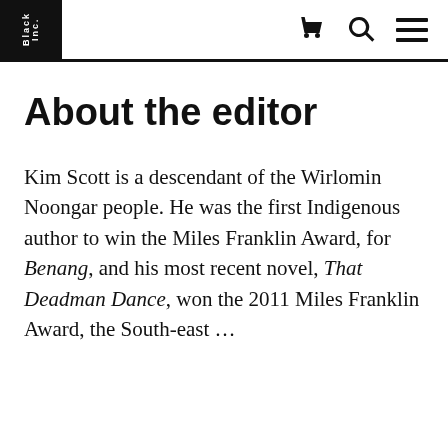Black Inc.
About the editor
Kim Scott is a descendant of the Wirlomin Noongar people. He was the first Indigenous author to win the Miles Franklin Award, for Benang, and his most recent novel, That Deadman Dance, won the 2011 Miles Franklin Award, the South-east …